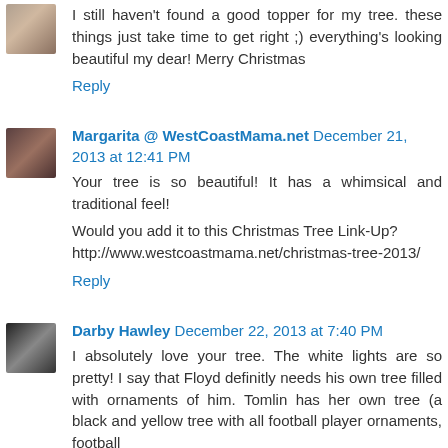[Figure (photo): Small avatar photo of a person, cropped head shot]
I still haven't found a good topper for my tree. these things just take time to get right ;) everything's looking beautiful my dear! Merry Christmas
Reply
[Figure (photo): Small avatar photo of a woman with dark hair and glasses]
Margarita @ WestCoastMama.net December 21, 2013 at 12:41 PM
Your tree is so beautiful! It has a whimsical and traditional feel!
Would you add it to this Christmas Tree Link-Up? http://www.westcoastmama.net/christmas-tree-2013/
Reply
[Figure (photo): Small black and white avatar photo]
Darby Hawley December 22, 2013 at 7:40 PM
I absolutely love your tree. The white lights are so pretty! I say that Floyd definitly needs his own tree filled with ornaments of him. Tomlin has her own tree (a black and yellow tree with all football player ornaments, football